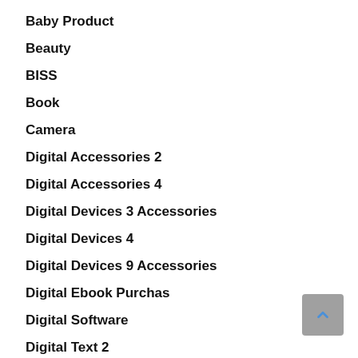Baby Product
Beauty
BISS
Book
Camera
Digital Accessories 2
Digital Accessories 4
Digital Devices 3 Accessories
Digital Devices 4
Digital Devices 9 Accessories
Digital Ebook Purchas
Digital Software
Digital Text 2
Digital Video Games